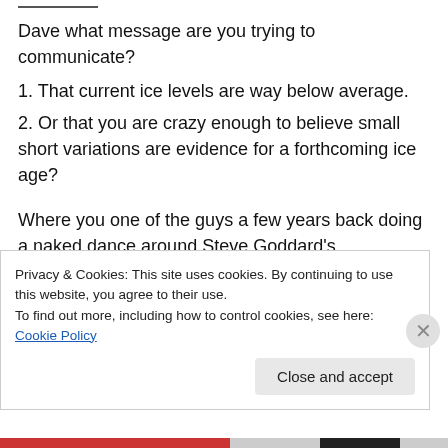Dave what message are you trying to communicate?
1. That current ice levels are way below average.
2. Or that you are crazy enough to believe small short variations are evidence for a forthcoming ice age?
Where you one of the guys a few years back doing a naked dance around Steve Goddard's ice blig? If so were you embarrassed?
Privacy & Cookies: This site uses cookies. By continuing to use this website, you agree to their use.
To find out more, including how to control cookies, see here: Cookie Policy